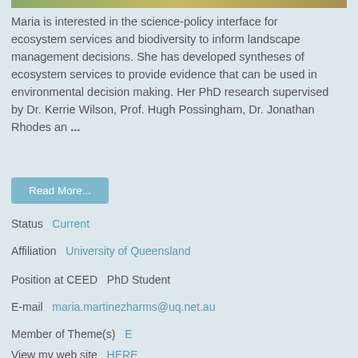[Figure (photo): Partial view of a photo strip at the top of the page]
Maria is interested in the science-policy interface for ecosystem services and biodiversity to inform landscape management decisions. She has developed syntheses of ecosystem services to provide evidence that can be used in environmental decision making. Her PhD research supervised by Dr. Kerrie Wilson, Prof. Hugh Possingham, Dr. Jonathan Rhodes an ...
Read More...
Status   Current
Affiliation   University of Queensland
Position at CEED   PhD Student
E-mail   maria.martinezharms@uq.net.au
Member of Theme(s)   E
View my web site   HERE